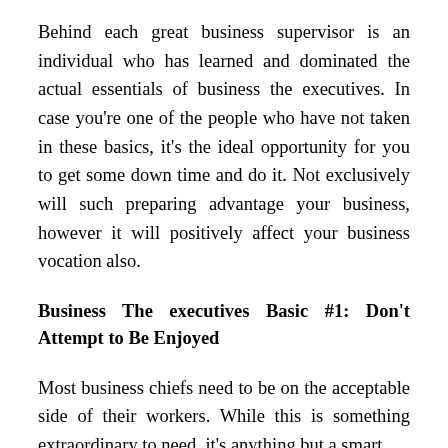Behind each great business supervisor is an individual who has learned and dominated the actual essentials of business the executives. In case you're one of the people who have not taken in these basics, it's the ideal opportunity for you to get some down time and do it. Not exclusively will such preparing advantage your business, however it will positively affect your business vocation also.
Business The executives Basic #1: Don't Attempt to Be Enjoyed
Most business chiefs need to be on the acceptable side of their workers. While this is something extraordinary to need, it's anything but a smart